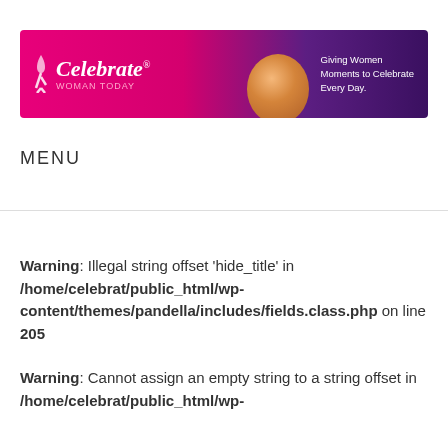[Figure (logo): Celebrate Woman Today website banner with pink and purple gradient background, woman's photo, logo text and tagline 'Giving Women Moments to Celebrate Every Day']
MENU
Warning: Illegal string offset 'hide_title' in /home/celebrat/public_html/wp-content/themes/pandella/includes/fields.class.php on line 205
Warning: Cannot assign an empty string to a string offset in /home/celebrat/public_html/wp-